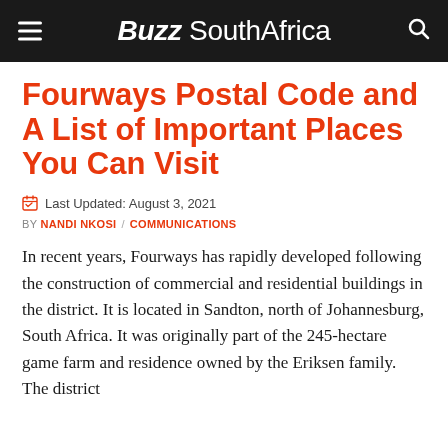Buzz SouthAfrica
Fourways Postal Code and A List of Important Places You Can Visit
Last Updated: August 3, 2021
BY NANDI NKOSI / COMMUNICATIONS
In recent years, Fourways has rapidly developed following the construction of commercial and residential buildings in the district. It is located in Sandton, north of Johannesburg, South Africa. It was originally part of the 245-hectare game farm and residence owned by the Eriksen family. The district